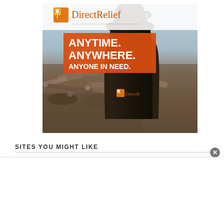[Figure (illustration): Direct Relief charity advertisement showing a person in a black jacket with 'Direct Relief' printed on the back, viewed from behind, looking over debris/rubble. An orange box overlay reads 'ANYTIME. ANYWHERE. ANYONE IN NEED.' The Direct Relief logo with orange bird/cross icon appears at top left and on the jacket. Dark sky background above debris field.]
SITES YOU MIGHT LIKE
[Figure (other): White advertisement placeholder area at bottom of page with a close (x) button in upper right corner]